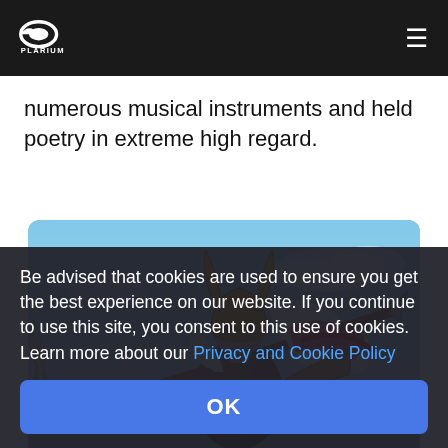Plarium (logo and navigation bar)
numerous musical instruments and held poetry in extreme high regard.
[Figure (photo): Fantasy warrior character wearing golden horned helmet with pink/red flowing hair, holding a large spear/trident weapon, wearing ornate armor, against a blue sky background. Game art from Plarium.]
Be advised that cookies are used to ensure you get the best experience on our website. If you continue to use this site, you consent to this use of cookies. Learn more about our Privacy and Cookie Policy
OK